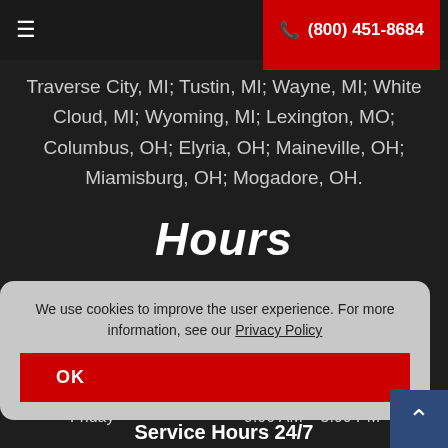☰  (800) 451-8684
Traverse City, MI; Tustin, MI; Wayne, MI; White Cloud, MI; Wyoming, MI; Lexington, MO; Columbus, OH; Elyria, OH; Maineville, OH; Miamisburg, OH; Mogadore, OH.
Hours
| Day | Hours |
| --- | --- |
| Monday | 9:00 AM – 5:00 PM |
| Tuesday | 9:00 AM – 5:00 PM |
| Wednesday | 9:00 AM – 5:00 PM |
| Thursday | 9:00 AM – 5:00 PM |
| Friday | 9:00 AM – 5:00 PM |
We use cookies to improve the user experience. For more information, see our Privacy Policy
OK
Service Hours 24/7